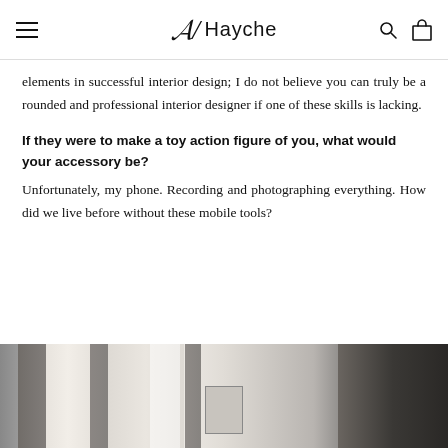Hayche
elements in successful interior design; I do not believe you can truly be a rounded and professional interior designer if one of these skills is lacking.
If they were to make a toy action figure of you, what would your accessory be?
Unfortunately, my phone. Recording and photographing everything. How did we live before without these mobile tools?
[Figure (photo): Black and white interior room photo showing windows with dark curtains and sheer panels, with a dark bookshelf on the right side and a small framed artwork visible.]